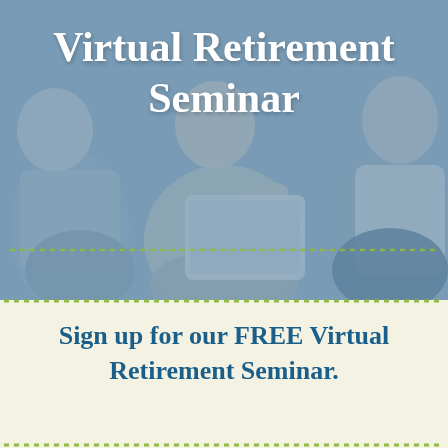[Figure (photo): Photo of three adults (two men and a woman) sitting on a couch, smiling and looking at a laptop. The image has a blue tinted overlay. The top section background is a muted steel blue.]
Virtual Retirement Seminar
Sign up for our FREE Virtual Retirement Seminar.